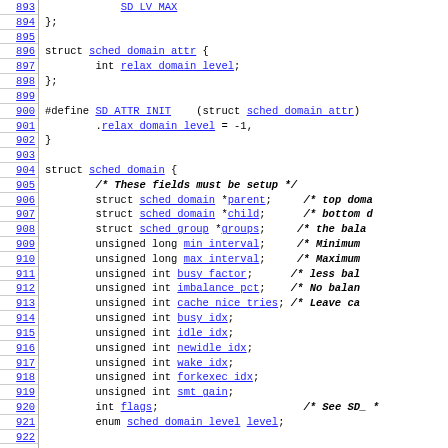893-922: C source code showing struct sched_domain_attr, SD_ATTR_INIT macro, and struct sched_domain definitions with fields.